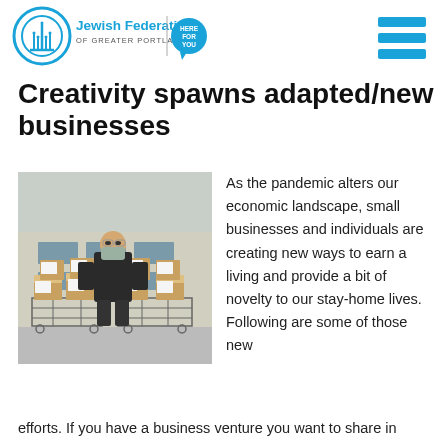[Figure (logo): Jewish Federation of Greater Portland logo with 'HERE FOR YOU' speech bubble badge]
Creativity spawns adapted/new businesses
[Figure (photo): Person wearing a mask standing behind two wire carts loaded with brown paper bags with notes]
As the pandemic alters our economic landscape, small businesses and individuals are creating new ways to earn a living and provide a bit of novelty to our stay-home lives. Following are some of those new efforts. If you have a business venture you want to share in